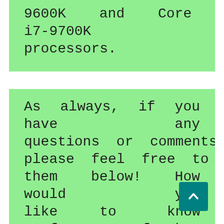9600K and Core i7-9700K processors.
As always, if you have any questions or comments please feel free to post them below! How would you like to know the performance of the newest AMD Ryzen 5 5600X processor? In this blog post, I'll be going over a couple of video reviews and